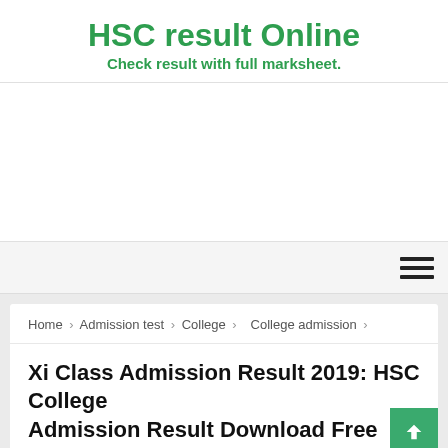HSC result Online
Check result with full marksheet.
[Figure (other): Advertisement/blank white space area]
[Figure (other): Hamburger menu icon (three horizontal lines) in navigation bar]
Home > Admission test > College > College admission >
Xi Class Admission Result 2019: HSC College Admission Result Download Free